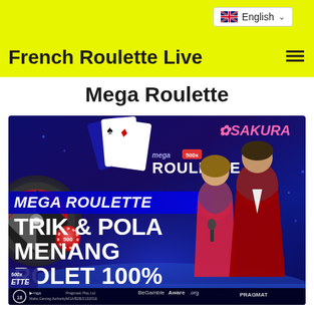French Roulette Live
Mega Roulette
[Figure (screenshot): Promotional screenshot for Mega Roulette live casino game by Pragmatic Play, showing two hosts (a woman in red dress and a man in red tuxedo), casino cards and roulette wheel graphics, with text overlays: 'MEGA ROULETTE', 'TRIK & POLA MENANG ROLET 100%', Sakura casino branding, MGA license, BeGambleAware and Pragmatic logos at the bottom.]